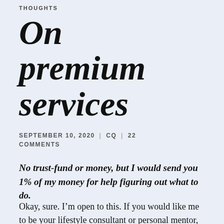THOUGHTS
On premium services
SEPTEMBER 10, 2020 | CQ | 22 COMMENTS
No trust-fund or money, but I would send you 1% of my money for help figuring out what to do.
Okay, sure. I’m open to this. If you would like me to be your lifestyle consultant or personal mentor, we